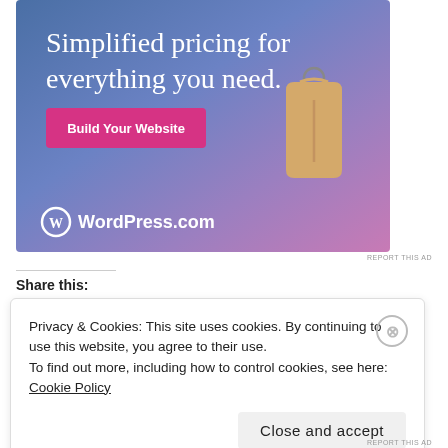[Figure (illustration): WordPress.com advertisement banner with gradient blue-purple background, text 'Simplified pricing for everything you need.', a pink 'Build Your Website' button, a tan/gold price tag graphic, and WordPress.com logo at the bottom.]
REPORT THIS AD
Share this:
Privacy & Cookies: This site uses cookies. By continuing to use this website, you agree to their use.
To find out more, including how to control cookies, see here: Cookie Policy
Close and accept
REPORT THIS AD